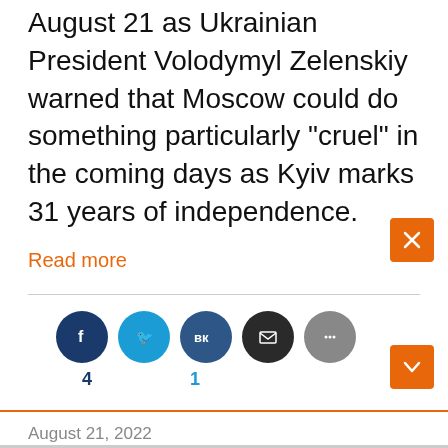August 21 as Ukrainian President Volodymyl Zelenskiy warned that Moscow could do something particularly "cruel" in the coming days as Kyiv marks 31 years of independence.
Read more
4   1
August 21, 2022
Four More Ships Carrying Food Leave Ukraine, Says Turkey